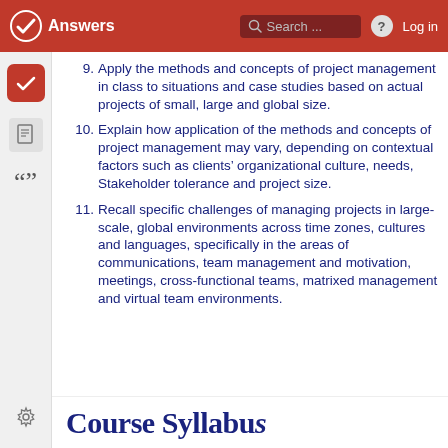Answers  Search ...  Log in
9. Apply the methods and concepts of project management in class to situations and case studies based on actual projects of small, large and global size.
10. Explain how application of the methods and concepts of project management may vary, depending on contextual factors such as clients' organizational culture, needs, Stakeholder tolerance and project size.
11. Recall specific challenges of managing projects in large-scale, global environments across time zones, cultures and languages, specifically in the areas of communications, team management and motivation, meetings, cross-functional teams, matrixed management and virtual team environments.
Course Syllabus